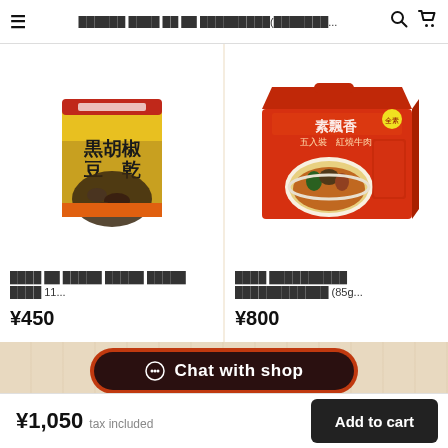≡  ██████ ████ ██ ██ █████████(███████...  🔍  🛒
[Figure (photo): Product image: 黒胡椒豆乾 (black pepper dried tofu snack) in a yellow and orange package]
████ ██ █████ █████ █████ ████ 11...
¥450
[Figure (photo): Product image: 素飄香 五入裝 紅燒牛肉 instant noodles in red multi-pack box (85g...)]
████ ██████████ ████████████ (85g...
¥800
Chat with shop
¥1,050  tax included
Add to cart